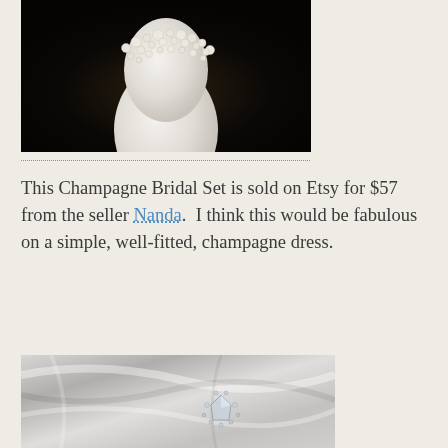[Figure (photo): Photo of a pearl cluster necklace displayed on a white vase/bust against a dark background]
This Champagne Bridal Set is sold on Etsy for $57 from the seller Nanda.  I think this would be fabulous on a simple, well-fitted, champagne dress.
[Figure (photo): Black and white close-up photo of white draped fabric with a crystal/rhinestone brooch or accessory]